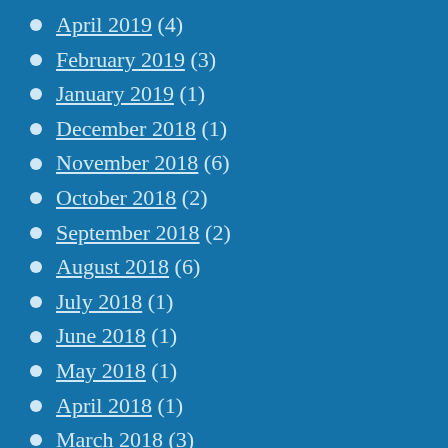April 2019 (4)
February 2019 (3)
January 2019 (1)
December 2018 (1)
November 2018 (6)
October 2018 (2)
September 2018 (2)
August 2018 (6)
July 2018 (1)
June 2018 (1)
May 2018 (1)
April 2018 (1)
March 2018 (3)
February 2018 (1)
January 2018 (2)
December 2017 (3)
November 2017 (4)